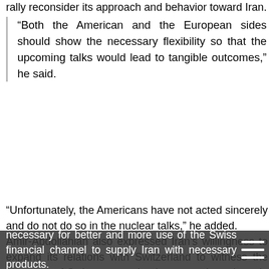rally reconsider its approach and behavior toward Iran.
“Both the American and the European sides should show the necessary flexibility so that the upcoming talks would lead to tangible outcomes,” he said.
“Unfortunately, the Americans have not acted sincerely and do not do so in the nuclear talks,” he added.
Amir-Abdollahian also expressed Iran’s willingness to expand its relations with Switzerland to witness the presence of Swiss companies in economic projects in Iran.
Cassis also said Bern attaches great importance to its ties with Tehran and is ready to expand the bilateral relations in various fields.
He said Switzerland is ready for any kind of cooperation necessary for better and more use of the Swiss financial channel to supply Iran with necessary products.